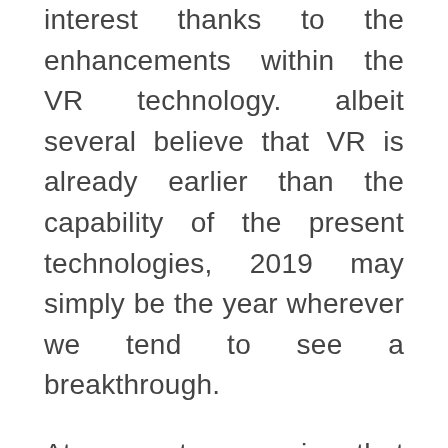interest thanks to the enhancements within the VR technology. albeit several believe that VR is already earlier than the capability of the present technologies, 2019 may simply be the year wherever we tend to see a breakthrough.
At any rate, perceive that no-one may deny the massive potential and therefore the marketplace for VR centered merchandise and services. Mark Zuckerberg, proclaimed that Facebook is launching a replacement